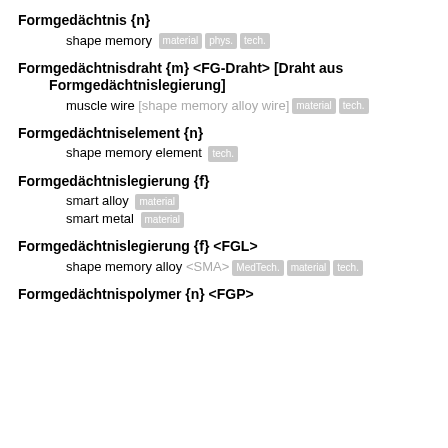Formgedächtnis {n} — shape memory [material] [phys.] [tech.]
Formgedächtnisdraht {m} <FG-Draht> [Draht aus Formgedächtnislegierung] — muscle wire [shape memory alloy wire] [material] [tech.]
Formgedächtniselement {n} — shape memory element [tech.]
Formgedächtnislegierung {f} — smart alloy [material] / smart metal [material]
Formgedächtnislegierung {f} <FGL> — shape memory alloy <SMA> [MedTech.] [material] [tech.]
Formgedächtnispolymer {n} <FGP>